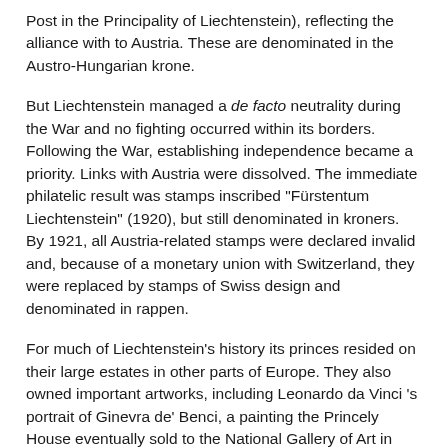Post in the Principality of Liechtenstein), reflecting the alliance with to Austria. These are denominated in the Austro-Hungarian krone.
But Liechtenstein managed a de facto neutrality during the War and no fighting occurred within its borders. Following the War, establishing independence became a priority. Links with Austria were dissolved. The immediate philatelic result was stamps inscribed "Fürstentum Liechtenstein" (1920), but still denominated in kroners.  By 1921, all Austria-related stamps were declared invalid and, because of a monetary union with Switzerland, they were replaced by stamps of Swiss design and denominated in rappen.
For much of Liechtenstein's history its princes resided on their large estates in other parts of Europe. They also owned important artworks, including Leonardo da Vinci 's portrait of Ginevra de' Benci, a painting the Princely House eventually sold to the National Gallery of Art in Washington, D.C. Worth a trip to Washington, it's the only Leonardo in the western hemisphere. Prior to the sale, Liechtenstein featured this portrait on a 1949 stamp (see below).